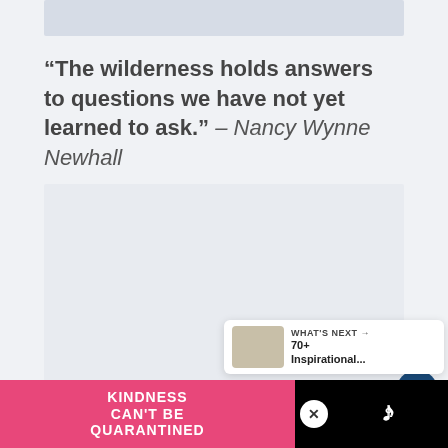[Figure (photo): Top image placeholder, light blue-gray rectangle]
“The wilderness holds answers to questions we have not yet learned to ask.” – Nancy Wynne Newhall
[Figure (photo): Main landscape/nature image placeholder, light gray rectangle]
[Figure (infographic): WHAT'S NEXT panel with thumbnail image. 70+ Inspirational...]
[Figure (infographic): Ad banner: KINDNESS CAN'T BE QUARANTINED on pink background, close button, logo on black background]